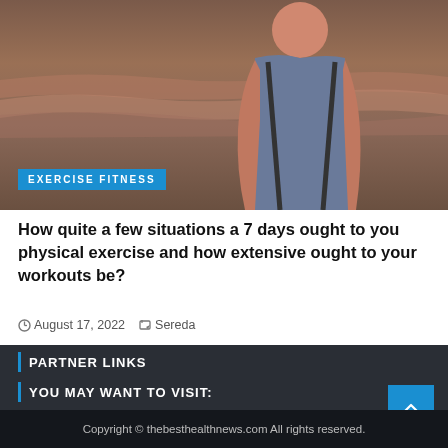[Figure (photo): Person seen from behind sitting on a canyon overlook, wearing a grey tank top and orange long-sleeve shirt, with a vast red rock canyon landscape behind them. A blue badge in the lower-left reads 'EXERCISE FITNESS'.]
How quite a few situations a 7 days ought to you physical exercise and how extensive ought to your workouts be?
August 17, 2022   Sereda
PARTNER LINKS
YOU MAY WANT TO VISIT:
sharpen your health
Copyright © thebesthealthnews.com All rights reserved.